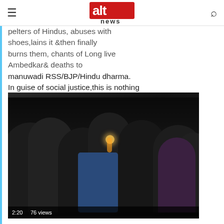Alt News logo navigation header
pelters of Hindus, abuses with shoes,lains it &then finally burns them, chants of Long live Ambedkar& deaths to manuwadi RSS/BJP/Hindu dharma. In guise of social justice,this is nothing but maleovalence&hate part1
[Figure (screenshot): A dark video thumbnail showing a crowd of people at night, with a bright flame/light visible in the center. Duration label 2:20 and 76 views shown at bottom left.]